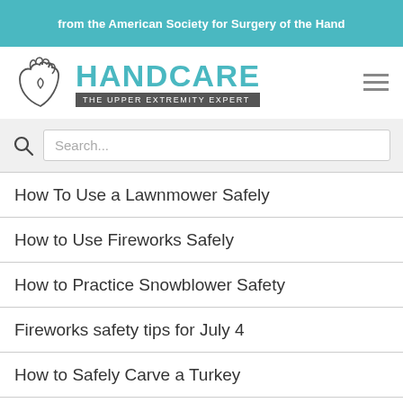from the American Society for Surgery of the Hand
[Figure (logo): HandCare logo with hand illustration and tagline 'THE UPPER EXTREMITY EXPERT']
Search...
How To Use a Lawnmower Safely
How to Use Fireworks Safely
How to Practice Snowblower Safety
Fireworks safety tips for July 4
How to Safely Carve a Turkey